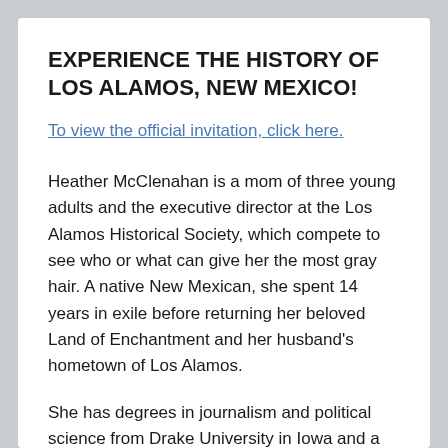EXPERIENCE THE HISTORY OF LOS ALAMOS, NEW MEXICO!
To view the official invitation, click here.
Heather McClenahan is a mom of three young adults and the executive director at the Los Alamos Historical Society, which compete to see who or what can give her the most gray hair. A native New Mexican, she spent 14 years in exile before returning her beloved Land of Enchantment and her husband's hometown of Los Alamos.
She has degrees in journalism and political science from Drake University in Iowa and a master's in U.S. history from the University of